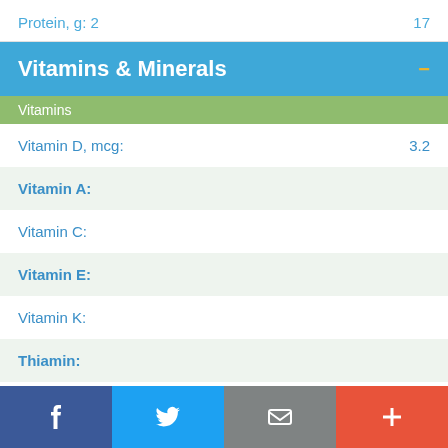Protein, g: 2    17
Vitamins & Minerals
Vitamins
Vitamin D, mcg:    3.2
Vitamin A:
Vitamin C:
Vitamin E:
Vitamin K:
Thiamin:
[Figure (infographic): Social sharing bar with Facebook, Twitter, email, and plus/more buttons]